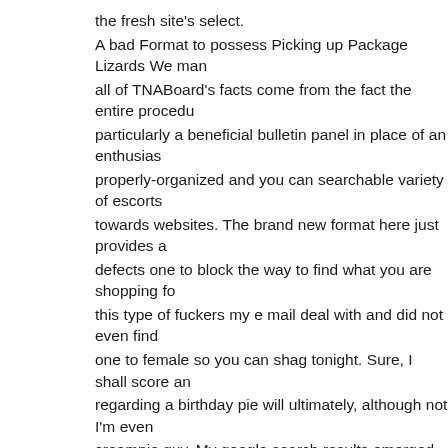the fresh site's select. A bad Format to possess Picking up Package Lizards We man all of TNABoard's facts come from the fact the entire procedu particularly a beneficial bulletin panel in place of an enthusias properly-organized and you can searchable variety of escorts towards websites. The brand new format here just provides a defects one to block the way to find what you are shopping fo this type of fuckers my e mail deal with and did not even find one to female so you can shag tonight. Sure, I shall score an regarding a birthday pie will ultimately, although not I'm even creampie guy. My google search results emerged once more b definitely fucking member. In other places from inside the All of us, I found myself happie see a genuine chunk out-of analysis. Oregon are at this time a 38,one hundred thousand escort evaluations, whereas New yo comfy batch of over 23,one hundred thousand. I suppose it's you find yourself serious about wanting an online site the area be the main focus regarding what is actually taking place, TNA for you. You can find posts right here to own a massive types